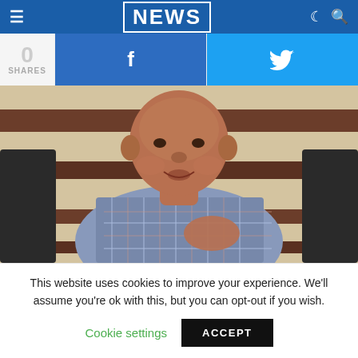NEWS
0 SHARES
[Figure (photo): Man in plaid shirt sitting on a sofa, speaking and placing hand on chest, against a wood-paneled background]
This website uses cookies to improve your experience. We'll assume you're ok with this, but you can opt-out if you wish.
Cookie settings  ACCEPT